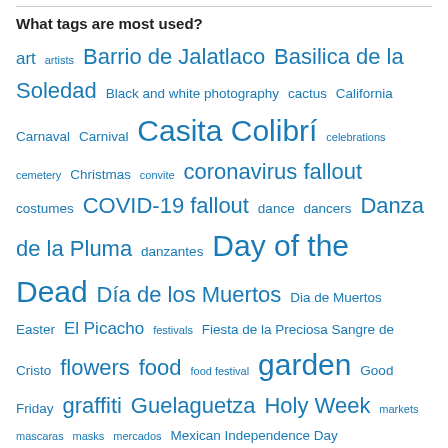What tags are most used?
art artists Barrio de Jalatlaco Basilica de la Soledad Black and white photography cactus California Carnaval Carnival Casita Colibrí celebrations cemetery Christmas convite coronavirus fallout costumes COVID-19 fallout dance dancers Danza de la Pluma danzantes Day of the Dead Día de los Muertos Dia de Muertos Easter El Picacho festivals Fiesta de la Preciosa Sangre de Cristo flowers food food festival garden Good Friday graffiti Guelaguetza Holy Week markets mascaras masks mercados Mexican Independence Day Mexico Mexico City murals music Oaxaca panteón parade parades photo photographs photos plants Plaza de la Danza